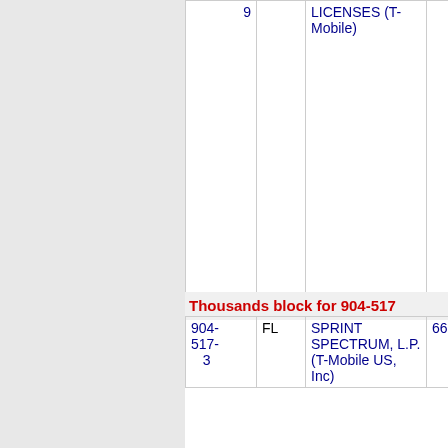| Number | State | Company | ZIP | City |
| --- | --- | --- | --- | --- |
| 9 |  | LICENSES (T-Mobile) |  |  |
Thousands block for 904-517
| Number | State | Company | ZIP | City |
| --- | --- | --- | --- | --- |
| 904-517-3 | FL | SPRINT SPECTRUM, L.P. (T-Mobile US, Inc) | 6664 | JACK |